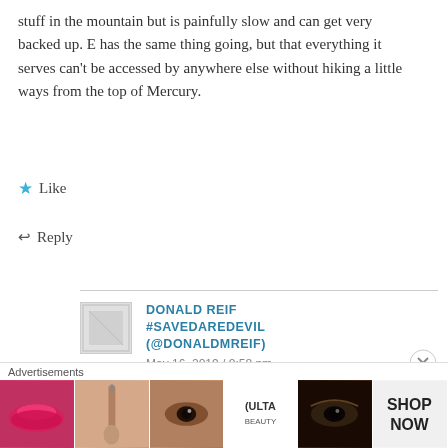stuff in the mountain but is painfully slow and can get very backed up. E has the same thing going, but that everything it serves can't be accessed by anywhere else without hiking a little ways from the top of Mercury.
★ Like
↩ Reply
DONALD REIF #SAVEDAREDEVIL (@DONALDMREIF)
May 16, 2019 / 8:58 pm
Lift E is probably more overdue for an
[Figure (screenshot): Advertisements banner showing ULTA beauty ad with lips, brush, eye makeup images and SHOP NOW text]
Advertisements